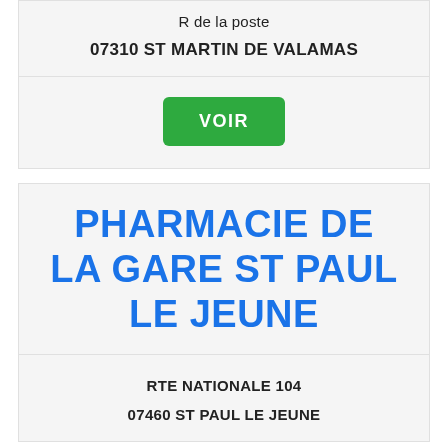R de la poste
07310 ST MARTIN DE VALAMAS
VOIR
PHARMACIE DE LA GARE ST PAUL LE JEUNE
RTE NATIONALE 104
07460 ST PAUL LE JEUNE